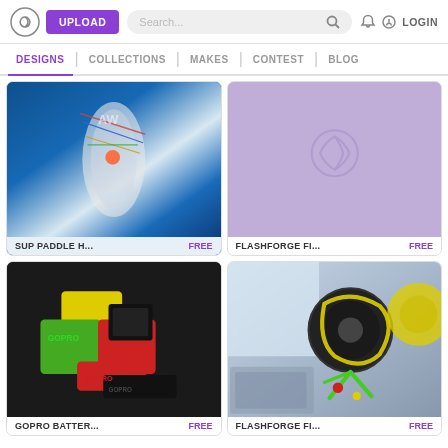UPLOAD | Search... | LOGIN
DESIGNS | COLLECTIONS | MAKES | CONTEST | BLOG
[Figure (photo): SUP paddle board aerial view with harness rigging on blue water]
SUP PADDLE H... FREE
[Figure (photo): Purple/lavender placeholder image with Cults3D swirl logo watermark]
FLASHFORGE FI... FREE
[Figure (photo): GoPro camera accessories in yellow, green and red silicone cases on dark background]
GOPRO BATTER... FREE
[Figure (photo): 3D printer with green spool holder and yellow filament reel on Flashforge printer]
FLASHFORGE FI... FREE
BEST SELLERS OF THE CATEGORY VARIOUS